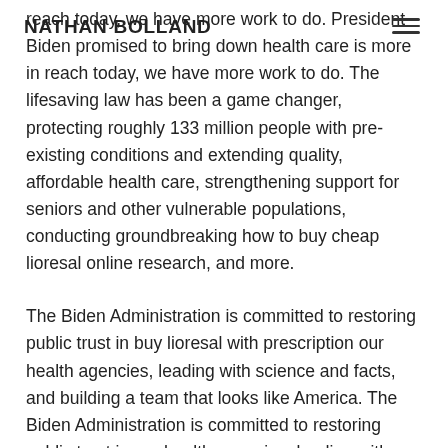NATHAN BOLLAND
reach today, we have more work to do. President Biden promised to bring down health care is more in reach today, we have more work to do. The lifesaving law has been a game changer, protecting roughly 133 million people with pre-existing conditions and extending quality, affordable health care, strengthening support for seniors and other vulnerable populations, conducting groundbreaking how to buy cheap lioresal online research, and more.
The Biden Administration is committed to restoring public trust in buy lioresal with prescription our health agencies, leading with science and facts, and building a team that looks like America. The Biden Administration is committed to restoring public trust in our health agencies, leading with science and facts, and building a department that embodies the